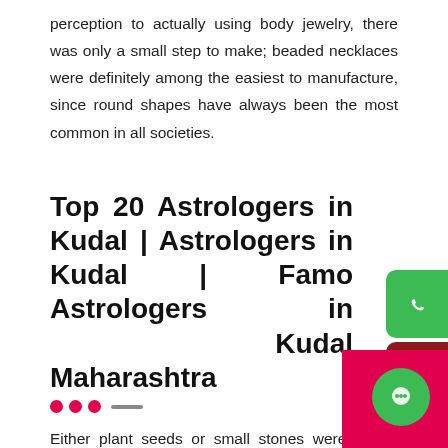perception to actually using body jewelry, there was only a small step to make; beaded necklaces were definitely among the easiest to manufacture, since round shapes have always been the most common in all societies.
Top 20 Astrologers in Kudal | Astrologers in Kudal | Famous Astrologers in Kudal Maharashtra
Either plant seeds or small stones were at the base of the very first beaded necklaces; it was only later that gems or semiprecious stones, pearls and choral pieces came to be used as well, though they definitely required a more intense production process. Most necklaces which are hand-done are attributed to primitive formations usually